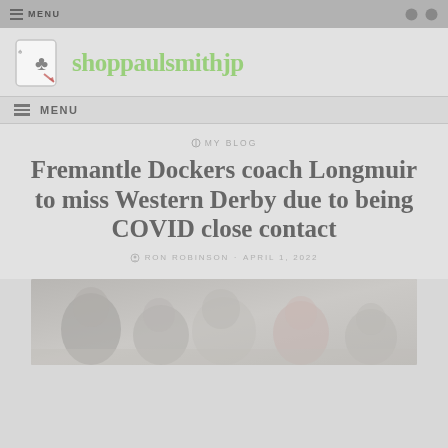MENU
[Figure (logo): Playing card ace of clubs logo icon with red arrow]
shoppaulsmithjp
MENU
MY BLOG
Fremantle Dockers coach Longmuir to miss Western Derby due to being COVID close contact
RON ROBINSON · APRIL 1, 2022
[Figure (photo): Photograph of people, appears to be related to football/sports context, muted grey tones]